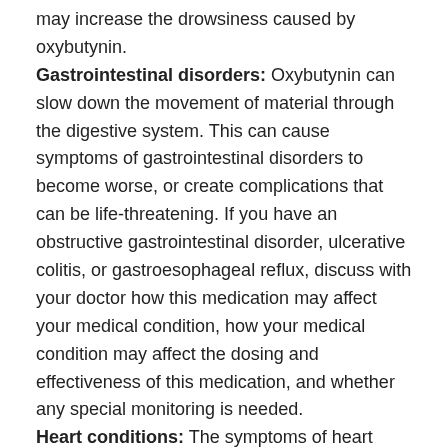may increase the drowsiness caused by oxybutynin.
Gastrointestinal disorders: Oxybutynin can slow down the movement of material through the digestive system. This can cause symptoms of gastrointestinal disorders to become worse, or create complications that can be life-threatening. If you have an obstructive gastrointestinal disorder, ulcerative colitis, or gastroesophageal reflux, discuss with your doctor how this medication may affect your medical condition, how your medical condition may affect the dosing and effectiveness of this medication, and whether any special monitoring is needed.
Heart conditions: The symptoms of heart disease, heart failure, abnormal heart rhythms, and high blood pressure can be aggravated by oxybutynin. If you have any of these conditions, discuss with your doctor how this medication may affect your medical condition, how your medical condition may affect the dosing and effectiveness of this medication, and whether any special monitoring is needed.